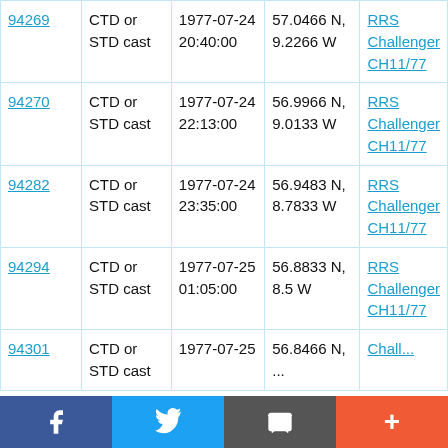| 94269 | CTD or STD cast | 1977-07-24
20:40:00 | 57.0466 N, 9.2266 W | RRS Challenger CH11/77 |
| 94270 | CTD or STD cast | 1977-07-24
22:13:00 | 56.9966 N, 9.0133 W | RRS Challenger CH11/77 |
| 94282 | CTD or STD cast | 1977-07-24
23:35:00 | 56.9483 N, 8.7833 W | RRS Challenger CH11/77 |
| 94294 | CTD or STD cast | 1977-07-25
01:05:00 | 56.8833 N, 8.5 W | RRS Challenger CH11/77 |
| 94301 | CTD or STD cast | 1977-07-25 | 56.8466 N, ... | RRS Challenger ... |
Facebook | Twitter | Email | +